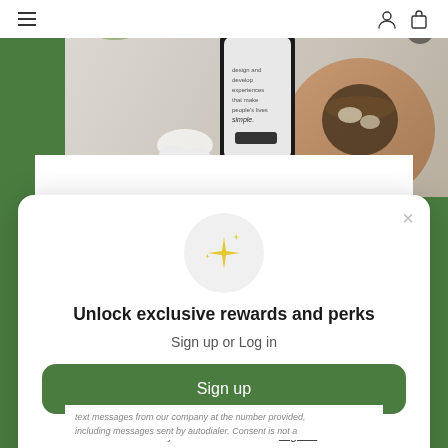[Figure (screenshot): Website background showing a hero image with a smartphone, earbuds, and a drink on a cork coaster. Navigation bar at top with hamburger menu and user/bag icons. Green section below.]
×
[Figure (illustration): Sparkle/star icon in a light grey circle]
Unlock exclusive rewards and perks
Sign up or Log in
Sign up
Already have an account? Sign in
text messages from our company at the number provided, including messages sent by autodialer. Consent is not a